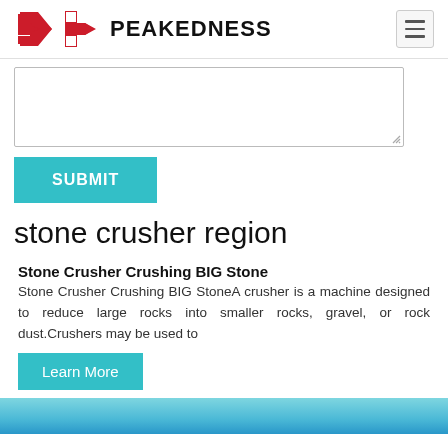[Figure (logo): Peakedness logo with red arrow-shaped P icon and bold black PEAKEDNESS text, plus hamburger menu icon on the right]
[Figure (other): Empty textarea form input with resize handle in bottom right corner]
SUBMIT
stone crusher region
Stone Crusher Crushing BIG Stone
Stone Crusher Crushing BIG StoneA crusher is a machine designed to reduce large rocks into smaller rocks, gravel, or rock dust.Crushers may be used to
Learn More
[Figure (photo): Blue sky and rock/mountain scenery image strip at the bottom of the page]